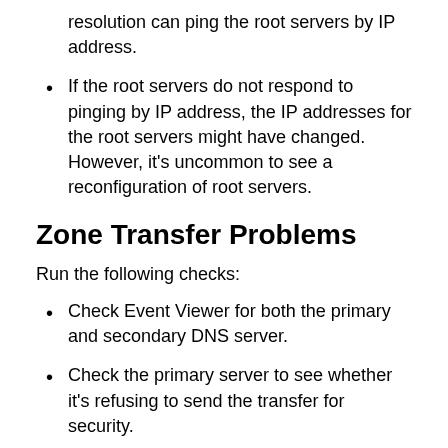resolution can ping the root servers by IP address.
If the root servers do not respond to pinging by IP address, the IP addresses for the root servers might have changed. However, it's uncommon to see a reconfiguration of root servers.
Zone Transfer Problems
Run the following checks:
Check Event Viewer for both the primary and secondary DNS server.
Check the primary server to see whether it's refusing to send the transfer for security.
Check the Zone Transfers tab of the zone properties in the DNS console. If the server restricts zone transfers